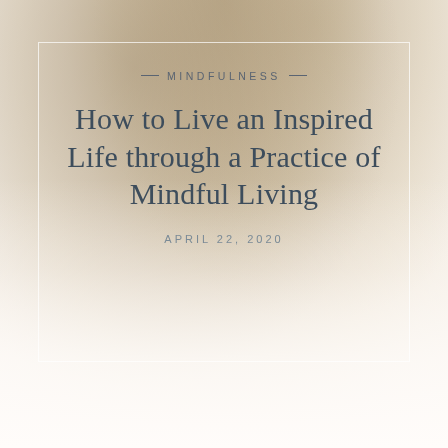[Figure (illustration): Soft warm beige and tan gradient background resembling a misty or sandy sky, transitioning from darker tan at the top to light cream/white at the bottom. A thin white rectangular border overlays the upper portion of the image.]
— MINDFULNESS —
How to Live an Inspired Life through a Practice of Mindful Living
APRIL 22, 2020